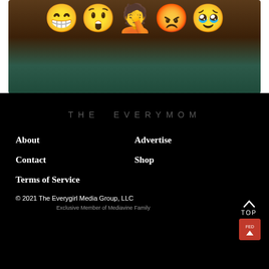[Figure (photo): Cropped photo showing five emoji faces (grinning, surprised, face-palm, angry, crying with hearts) overlaid on what appears to be hands holding a phone with a patterned case]
THE EVERYMOM
About
Advertise
Contact
Shop
Terms of Service
© 2021 The Everygirl Media Group, LLC
Exclusive Member of Mediavine Family